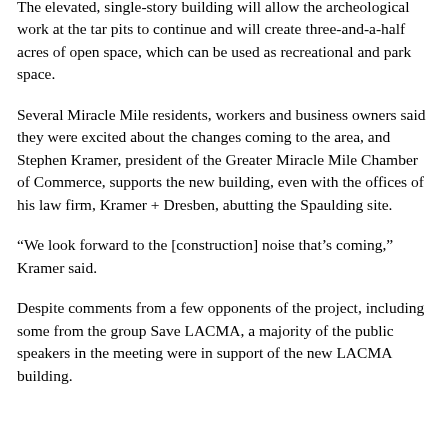The elevated, single-story building will allow the archeological work at the tar pits to continue and will create three-and-a-half acres of open space, which can be used as recreational and park space.
Several Miracle Mile residents, workers and business owners said they were excited about the changes coming to the area, and Stephen Kramer, president of the Greater Miracle Mile Chamber of Commerce, supports the new building, even with the offices of his law firm, Kramer + Dresben, abutting the Spaulding site.
“We look forward to the [construction] noise that’s coming,” Kramer said.
Despite comments from a few opponents of the project, including some from the group Save LACMA, a majority of the public speakers in the meeting were in support of the new LACMA building.